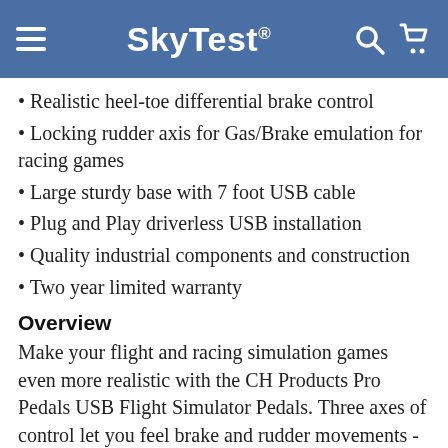SkyTest®
Realistic heel-toe differential brake control
Locking rudder axis for Gas/Brake emulation for racing games
Large sturdy base with 7 foot USB cable
Plug and Play driverless USB installation
Quality industrial components and construction
Two year limited warranty
Overview
Make your flight and racing simulation games even more realistic with the CH Products Pro Pedals USB Flight Simulator Pedals. Three axes of control let you feel brake and rudder movements - just as you would in an actual aircraft. The pedals are sensitive to forward and backward